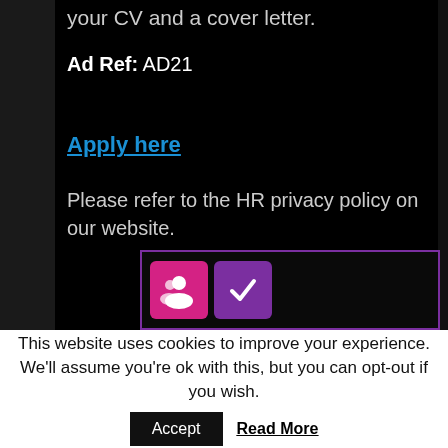your CV and a cover letter.
Ad Ref:  AD21
Apply here
Please refer to the HR privacy policy on our website.
[Figure (screenshot): Two colored icons inside a purple-bordered box: a pink icon with a person/group symbol and a purple icon with a checkmark.]
This website uses cookies to improve your experience. We'll assume you're ok with this, but you can opt-out if you wish.
Accept   Read More